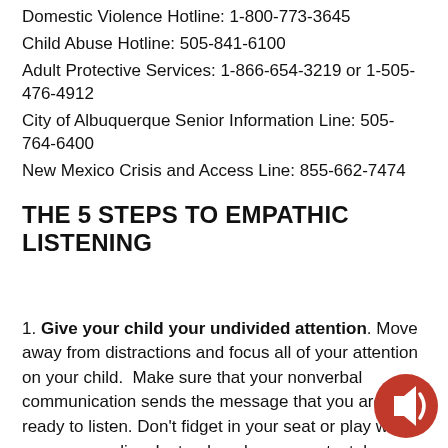Domestic Violence Hotline: 1-800-773-3645
Child Abuse Hotline: 505-841-6100
Adult Protective Services: 1-866-654-3219 or 1-505-476-4912
City of Albuquerque Senior Information Line: 505-764-6400
New Mexico Crisis and Access Line: 855-662-7474
THE 5 STEPS TO EMPATHIC LISTENING
1. Give your child your undivided attention. Move away from distractions and focus all of your attention on your child.  Make sure that your nonverbal communication sends the message that you are ready to listen. Don't fidget in your seat or play with pens, paperclips. Instead, make eye contact, lean slightly forward, and nod your head periodically to let your